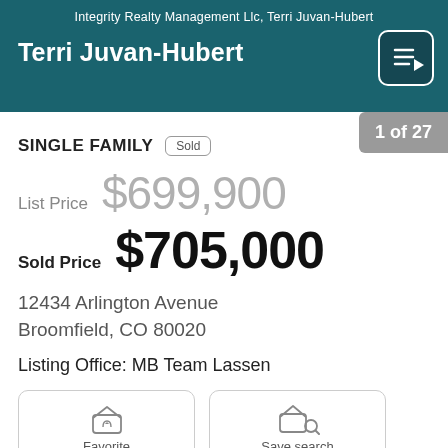Integrity Realty Management Llc, Terri Juvan-Hubert
Terri Juvan-Hubert
SINGLE FAMILY  Sold
1 of 27
List Price  $699,900
Sold Price  $705,000
12434 Arlington Avenue
Broomfield, CO 80020
Listing Office: MB Team Lassen
[Figure (illustration): Favorite button with heart-house icon]
[Figure (illustration): Save search button with house-magnifier icon]